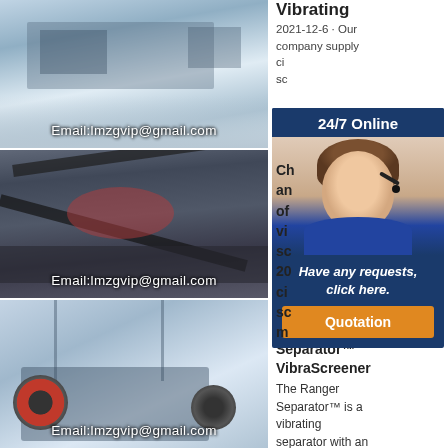[Figure (photo): Industrial machinery/crushing plant interior with Email:lmzgvip@gmail.com overlay]
[Figure (photo): Mobile crushing plant with conveyor belts outdoors, Email:lmzgvip@gmail.com overlay]
[Figure (photo): Jaw crusher machine in industrial building, Email:lmzgvip@gmail.com overlay]
Vibrating
2021-12-6 · Our company supply ci... sc...
Ch... an... of vi... sc... 20... ci... sc... m...
[Figure (other): 24/7 Online chat widget with customer service agent photo, Have any requests, click here. and Quotation button]
Ranger Separator™
VibraScreener
The Ranger Separator™ is a vibrating separator with an